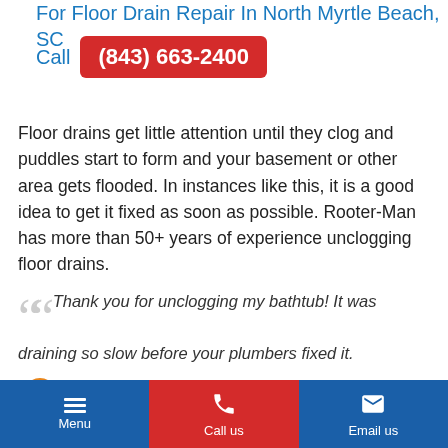For Floor Drain Repair In North Myrtle Beach, SC Call (843) 663-2400
Floor drains get little attention until they clog and puddles start to form and your basement or other area gets flooded. In instances like this, it is a good idea to get it fixed as soon as possible. Rooter-Man has more than 50+ years of experience unclogging floor drains.
Thank you for unclogging my bathtub! It was draining so slow before your plumbers fixed it.
Janice
[Figure (illustration): Cartoon avatar of a couple, male and female figures]
Menu  Call us  Email us